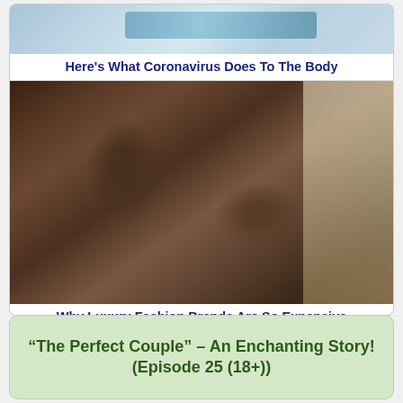[Figure (photo): Medical/hospital image showing coronavirus-related content at top]
Here's What Coronavirus Does To The Body
[Figure (photo): Person sleeping wrapped in a Louis Vuitton monogram blanket on a private jet seat with LV bag]
Why Luxury Fashion Brands Are So Expensive
“The Perfect Couple” – An Enchanting Story! (Episode 25 (18+))